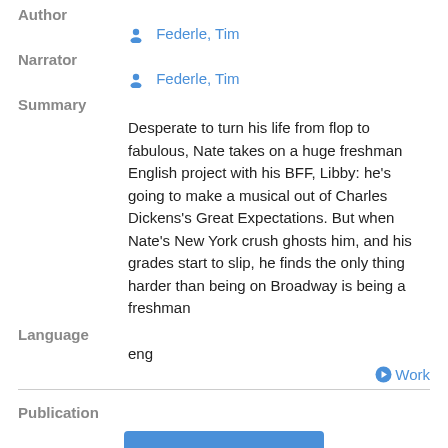Author
Federle, Tim
Narrator
Federle, Tim
Summary
Desperate to turn his life from flop to fabulous, Nate takes on a huge freshman English project with his BFF, Libby: he's going to make a musical out of Charles Dickens's Great Expectations. But when Nate's New York crush ghosts him, and his grades start to slip, he finds the only thing harder than being on Broadway is being a freshman
Language
eng
Work
Publication